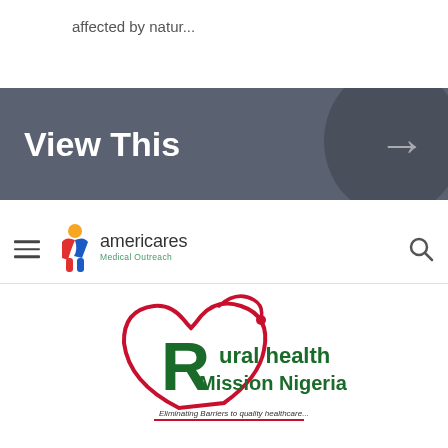affected by natur...
[Figure (screenshot): Dark grey banner with bold white text 'View This' and a right-arrow symbol inside a circular overlay on the right side]
[Figure (logo): Americares Medical Outreach navigation bar with hamburger menu, logo (figure with red/blue/orange), text 'americares Medical Outreach', and search icon]
[Figure (logo): Rural Health Mission Nigeria logo: heart shape in red outline with large green R, stethoscope graphic, text 'Rural health Mission Nigeria', tagline 'Eliminating Barriers to quality healthcare...']